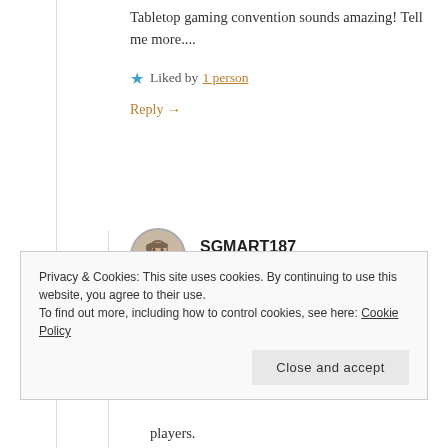Tabletop gaming convention sounds amazing! Tell me more....
★ Liked by 1 person
Reply →
SGMART187
November 26, 2017 at 8:56 pm
There was a good bit of variety. There were board and card games, as well as role playing games such as Dungeons
Privacy & Cookies: This site uses cookies. By continuing to use this website, you agree to their use.
To find out more, including how to control cookies, see here: Cookie Policy
Close and accept
players.